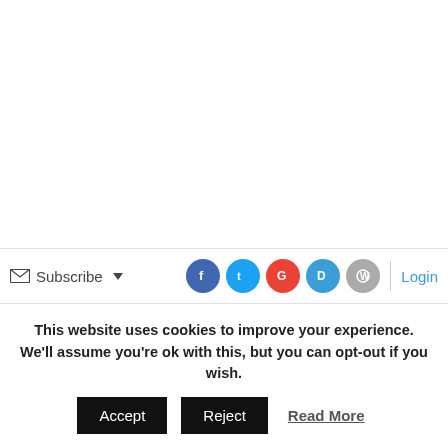Subscribe ▾ [social icons: Facebook, Twitter, Google, Disqus, WordPress] | Login
Join the discussion
This website uses cookies to improve your experience. We'll assume you're ok with this, but you can opt-out if you wish.
Accept  Reject  Read More